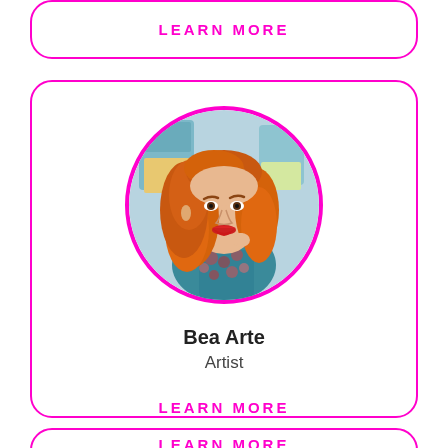LEARN MORE
[Figure (photo): Circular profile photo of a woman with long orange/red wavy hair, wearing a floral top, hand near her chin, with colorful artwork visible in the background. Framed in a magenta/pink circle border.]
Bea Arte
Artist
LEARN MORE
LEARN MORE